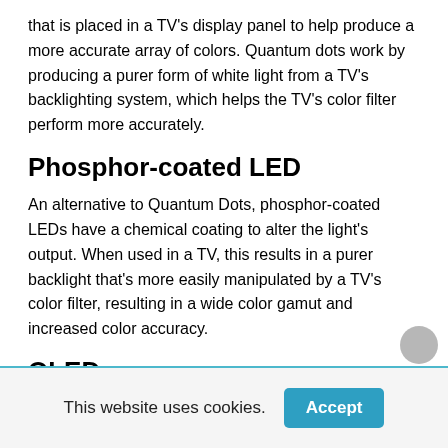that is placed in a TV's display panel to help produce a more accurate array of colors. Quantum dots work by producing a purer form of white light from a TV's backlighting system, which helps the TV's color filter perform more accurately.
Phosphor-coated LED
An alternative to Quantum Dots, phosphor-coated LEDs have a chemical coating to alter the light's output. When used in a TV, this results in a purer backlight that's more easily manipulated by a TV's color filter, resulting in a wide color gamut and increased color accuracy.
OLED
This website uses cookies.
Accept